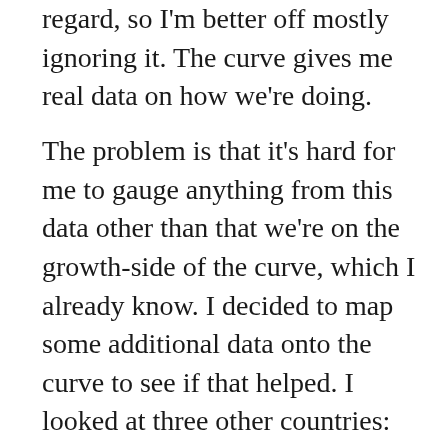regard, so I'm better off mostly ignoring it. The curve gives me real data on how we're doing.
The problem is that it's hard for me to gauge anything from this data other than that we're on the growth-side of the curve, which I already know. I decided to map some additional data onto the curve to see if that helped. I looked at three other countries: China, South Korea, and Italy. China and South Korea have, by all accounts, handled things well. I'm not sure if Italy is handling things poorly, but – by all accounts – things are going poorly there. I figured that comparing these three data sets with the U.S. curve would give me a better sense of how we're doing and what to possibly expect.